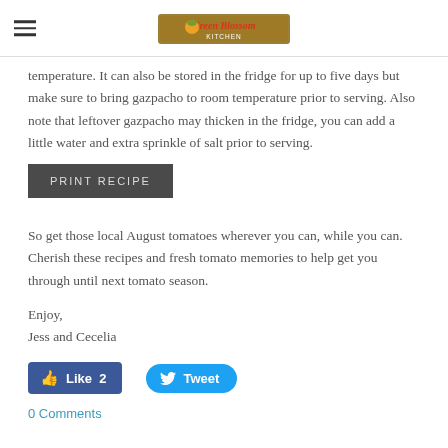Green Blossom Kitchen logo and hamburger menu
temperature. It can also be stored in the fridge for up to five days but make sure to bring gazpacho to room temperature prior to serving. Also note that leftover gazpacho may thicken in the fridge, you can add a little water and extra sprinkle of salt prior to serving.
PRINT RECIPE
So get those local August tomatoes wherever you can, while you can. Cherish these recipes and fresh tomato memories to help get you through until next tomato season.
Enjoy,
Jess and Cecelia
Like 2   Tweet
0 Comments